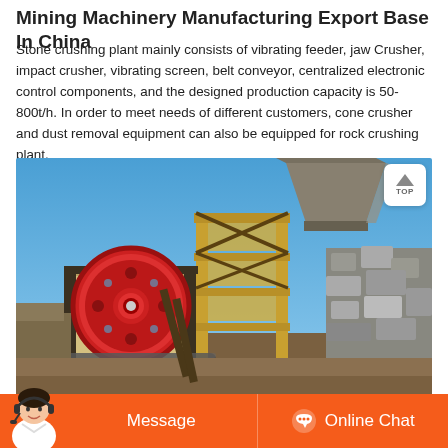Mining Machinery Manufacturing Export Base In China
Stone crushing plant mainly consists of vibrating feeder, jaw Crusher, impact crusher, vibrating screen, belt conveyor, centralized electronic control components, and the designed production capacity is 50-800t/h. In order to meet needs of different customers, cone crusher and dust removal equipment can also be equipped for rock crushing plant.
[Figure (photo): Outdoor photograph of a stone crushing plant showing a jaw crusher machine with a large red flywheel on the left, a tall yellow steel frame structure in the center, a hopper/chute at the top right, and a stone wall on the far right. Blue sky in background.]